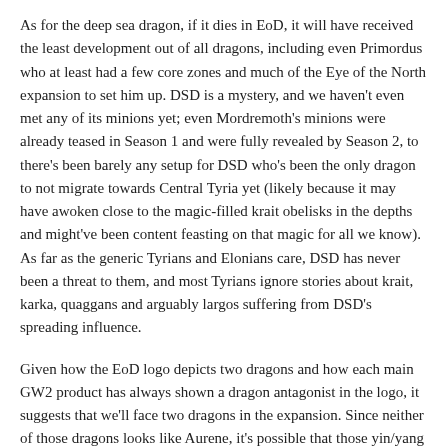As for the deep sea dragon, if it dies in EoD, it will have received the least development out of all dragons, including even Primordus who at least had a few core zones and much of the Eye of the North expansion to set him up. DSD is a mystery, and we haven't even met any of its minions yet; even Mordremoth's minions were already teased in Season 1 and were fully revealed by Season 2, to there's been barely any setup for DSD who's been the only dragon to not migrate towards Central Tyria yet (likely because it may have awoken close to the magic-filled krait obelisks in the depths and might've been content feasting on that magic for all we know). As far as the generic Tyrians and Elonians care, DSD has never been a threat to them, and most Tyrians ignore stories about krait, karka, quaggans and arguably largos suffering from DSD's spreading influence.
Given how the EoD logo depicts two dragons and how each main GW2 product has always shown a dragon antagonist in the logo, it suggests that we'll face two dragons in the expansion. Since neither of those dragons looks like Aurene, it's possible that those yin/yang dragons represent DSD who could be two dragons who are one Lyssa-style (if the writers want to draw further parallels between the gods and the dragons). Maybe they can justify one half of DSD being "friendly" and trying to aid humanity while the other half is chaotic and wants destruction, so they'll basically give us a tragic Jormag 2.0 story but with more bathos if we need to kill both the evil